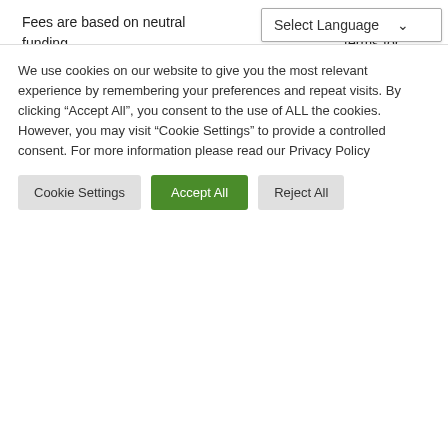Fees are based on neutral funding which is our standard billing terms for Employer of record servic…y
All direct costs that are required to be funded by Employ Africa will incur a financing fee of;
30-day payment terms
Recruitment
We use cookies on our website to give you the most relevant experience by remembering your preferences and repeat visits. By clicking “Accept All”, you consent to the use of ALL the cookies. However, you may visit “Cookie Settings” to provide a controlled consent. For more information please read our Privacy Policy
Cookie Settings | Accept All | Reject All